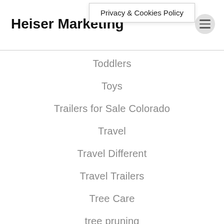Heiser Marketing | Privacy & Cookies Policy
Toddlers
Toys
Trailers for Sale Colorado
Travel
Travel Different
Travel Trailers
Tree Care
tree pruning
Twitter
Uncategorized
Veganism
Video Marketing
vitamin d